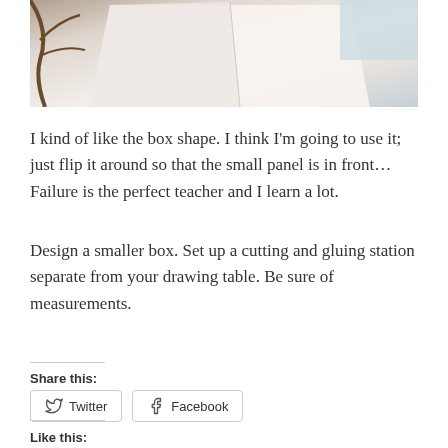[Figure (photo): Photo of a white box/paper structure with a brown branch visible on the left side, against a light blue/white background]
I kind of like the box shape. I think I'm going to use it; just flip it around so that the small panel is in front… Failure is the perfect teacher and I learn a lot.
Design a smaller box. Set up a cutting and gluing station separate from your drawing table. Be sure of measurements.
Share this:
Twitter
Facebook
Like this: